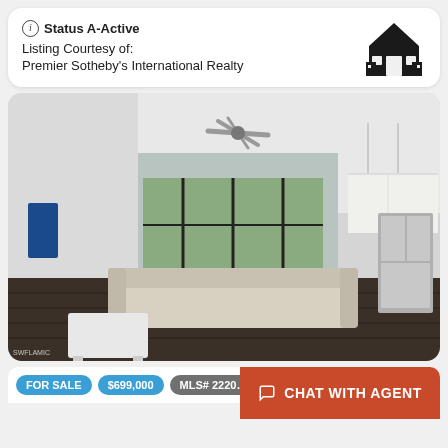ⓘ Status A-Active
Listing Courtesy of:
Premier Sotheby's International Realty
[Figure (photo): Interior photo of a modern open-plan living room and kitchen with ceiling fan, large windows, light sofa, dark hardwood floors, and stainless steel refrigerator]
FOR SALE  $699,000  MLS# 2220...  CHAT WITH AGENT